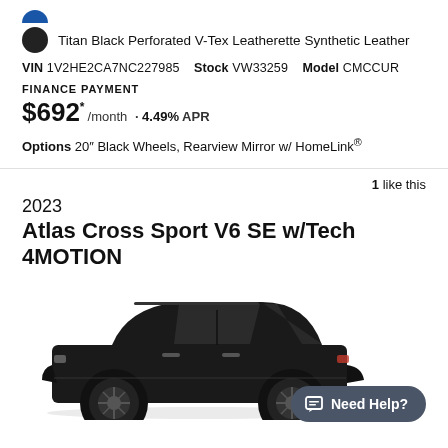[Figure (illustration): Blue color swatch circle (partial, top of page)]
Titan Black Perforated V-Tex Leatherette Synthetic Leather
VIN 1V2HE2CA7NC227985  Stock VW33259  Model CMCCUR
FINANCE PAYMENT
$692* /month · 4.49% APR
Options 20" Black Wheels, Rearview Mirror w/ HomeLink®
1 like this
2023 Atlas Cross Sport V6 SE w/Tech 4MOTION
[Figure (photo): Black Volkswagen Atlas Cross Sport SUV side profile view on white background]
Need Help?